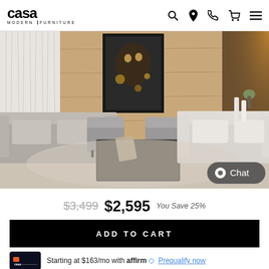casa MODERN FURNITURE
[Figure (photo): Modern living room showroom scene with gray sofas, two accent chairs, glass coffee table, framed portrait artwork on wood-paneled wall, ambient lighting. Chat button overlay in bottom right.]
$3,499 $2,595 You Save 25%
ADD TO CART
Starting at $163/mo with affirm Prequalify now